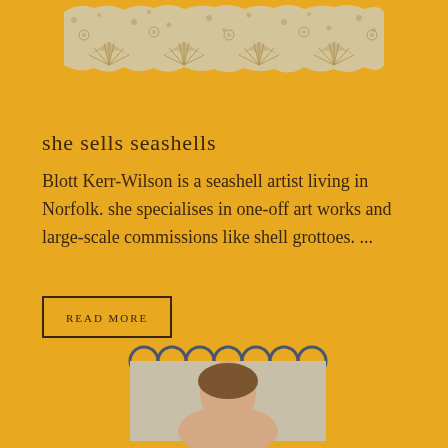[Figure (illustration): Decorative seashell/floral pattern artwork in gold and cream tones, rectangular with torn/irregular edges]
she sells seashells
Blott Kerr-Wilson is a seashell artist living in Norfolk. she specialises in one-off art works and large-scale commissions like shell grottoes. ...
READ MORE
[Figure (photo): Circular scallop-edged frame with photo of a person, dark blue outline, partially visible at bottom of page]